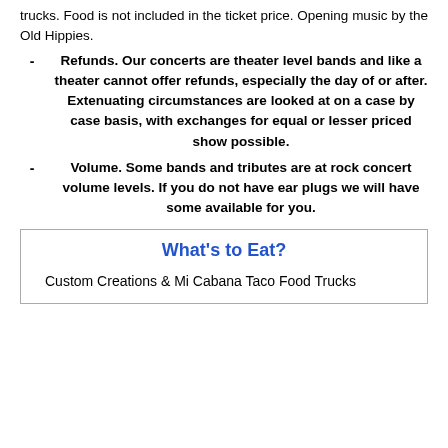trucks. Food is not included in the ticket price. Opening music by the Old Hippies.
- Refunds. Our concerts are theater level bands and like a theater cannot offer refunds, especially the day of or after. Extenuating circumstances are looked at on a case by case basis, with exchanges for equal or lesser priced show possible.
- Volume. Some bands and tributes are at rock concert volume levels. If you do not have ear plugs we will have some available for you.
What's to Eat?
Custom Creations & Mi Cabana Taco Food Trucks